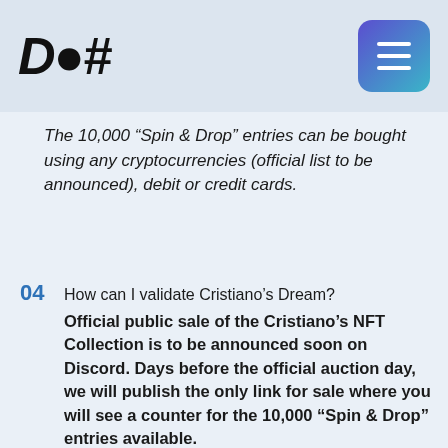D♟# [logo] [hamburger menu]
The 10,000 “Spin & Drop” entries can be bought using any cryptocurrencies (official list to be announced), debit or credit cards.
04  How can I validate Cristiano’s Dream?
Official public sale of the Cristiano’s NFT Collection is to be announced soon on Discord. Days before the official auction day, we will publish the only link for sale where you will see a counter for the 10,000 “Spin & Drop” entries available.
After all of the 10,000 “Spin & Drop” entries are all sold out, the